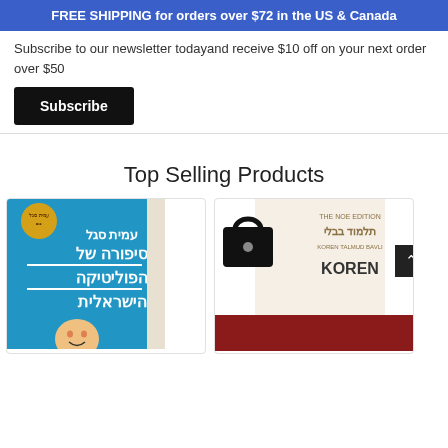FREE SHIPPING for orders over $72 in the US & Canada
Subscribe to our newsletter todayand receive $10 off on your next order over $50
Subscribe
Top Selling Products
[Figure (photo): Book cover in Hebrew - blue background with white Hebrew text and a cartoon face at the bottom]
[Figure (photo): Koren Talmud Bavli book cover with a lock icon overlay and PDF badge; Sign up and earn Points bar visible]
Sign up and earn Points
PDF